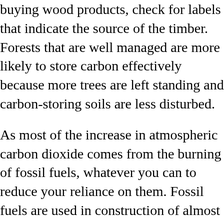buying wood products, check for labels that indicate the source of the timber. Forests that are well managed are more likely to store carbon effectively because more trees are left standing and carbon-storing soils are less disturbed.

As most of the increase in atmospheric carbon dioxide comes from the burning of fossil fuels, whatever you can to reduce your reliance on them. Fossil fuels are used in construction of almost anything you can buy. So basically reduce your use of all products. Reuse everything you can, recycle anything you cannot reuse. Buy recycled products. It takes less energy to manufacture a recycled product than a brand new one. And if every other consumer buy recycled goods, it will help create a market, and conserve energy along the way.

Write a letter or email your local newspaper about the significance of the global warming issue and the need for reduced greenhouse gas emissions.

Write a letter or email to the government of your country and ask them to address...